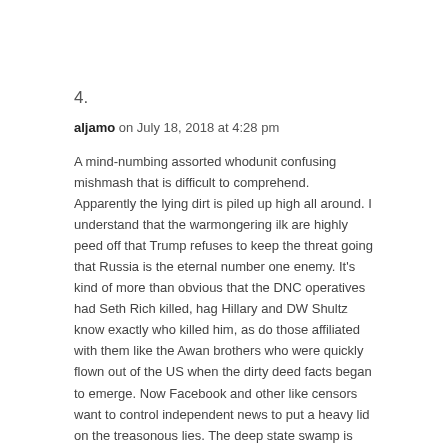4.
aljamo on July 18, 2018 at 4:28 pm
A mind-numbing assorted whodunit confusing mishmash that is difficult to comprehend. Apparently the lying dirt is piled up high all around. I understand that the warmongering ilk are highly peed off that Trump refuses to keep the threat going that Russia is the eternal number one enemy. It’s kind of more than obvious that the DNC operatives had Seth Rich killed, hag Hillary and DW Shultz know exactly who killed him, as do those affiliated with them like the Awan brothers who were quickly flown out of the US when the dirty deed facts began to emerge. Now Facebook and other like censors want to control independent news to put a heavy lid on the treasonous lies. The deep state swamp is heavily stocked with much to lose traitors.